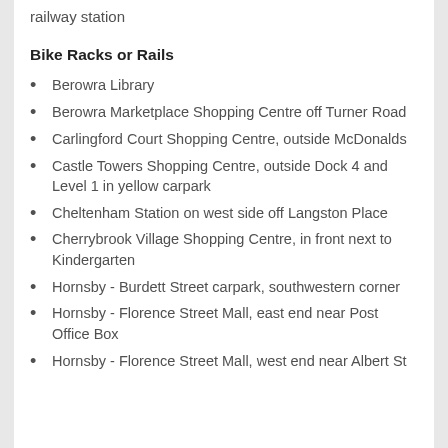railway station
Bike Racks or Rails
Berowra Library
Berowra Marketplace Shopping Centre off Turner Road
Carlingford Court Shopping Centre, outside McDonalds
Castle Towers Shopping Centre, outside Dock 4 and Level 1 in yellow carpark
Cheltenham Station on west side off Langston Place
Cherrybrook Village Shopping Centre, in front next to Kindergarten
Hornsby - Burdett Street carpark, southwestern corner
Hornsby - Florence Street Mall, east end near Post Office Box
Hornsby - Florence Street Mall, west end near Albert St